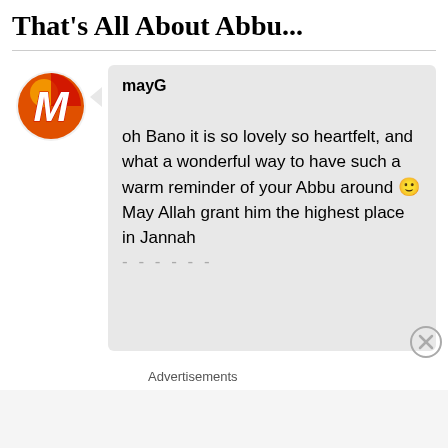That's All About Abbu...
[Figure (illustration): Round avatar logo with red and white stylized letter M on orange/red background circle]
mayG

oh Bano it is so lovely so heartfelt, and what a wonderful way to have such a warm reminder of your Abbu around 🙂
May Allah grant him the highest place in Jannah
...
Advertisements